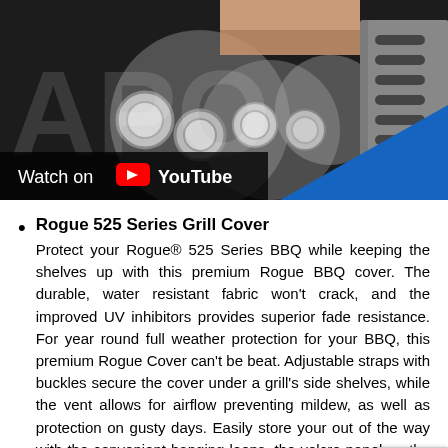[Figure (screenshot): YouTube video thumbnail showing a BBQ grill engine/parts close-up with 'Watch on YouTube' overlay bar and blue diagonal element. Partial 'APO' logo text visible on left side.]
Rogue 525 Series Grill Cover
Protect your Rogue® 525 Series BBQ while keeping the shelves up with this premium Rogue BBQ cover. The durable, water resistant fabric won't crack, and the improved UV inhibitors provides superior fade resistance. For year round full weather protection for your BBQ, this premium Rogue Cover can't be beat. Adjustable straps with buckles secure the cover under a grill's side shelves, while the vent allows for airflow preventing mildew, as well as protection on gusty days. Easily store your out of the way with the convenient hanging loops. the velcro panel on the front for easy access to th the velcro panel on the front for easy access to f